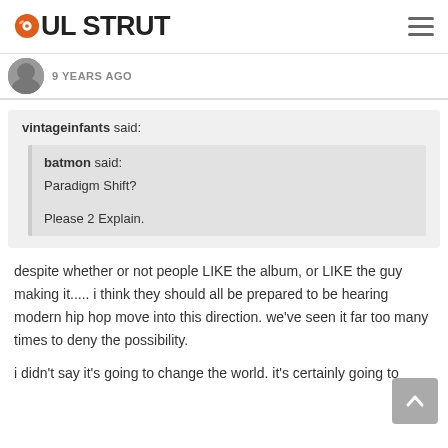SOUL STRUT
9 YEARS AGO
vintageinfants said:
batmon said:
Paradigm Shift?

Please 2 Explain.
despite whether or not people LIKE the album, or LIKE the guy making it..... i think they should all be prepared to be hearing modern hip hop move into this direction. we've seen it far too many times to deny the possibility.
i didn't say it's going to change the world. it's certainly going to